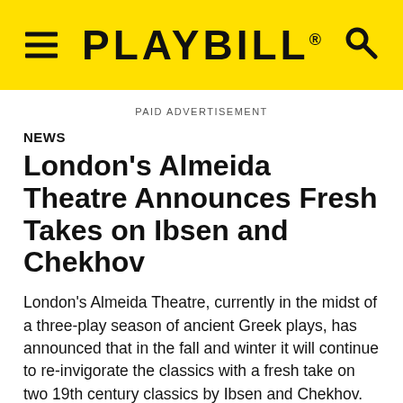PLAYBILL
PAID ADVERTISEMENT
NEWS
London's Almeida Theatre Announces Fresh Takes on Ibsen and Chekhov
London's Almeida Theatre, currently in the midst of a three-play season of ancient Greek plays, has announced that in the fall and winter it will continue to re-invigorate the classics with a fresh take on two 19th century classics by Ibsen and Chekhov.